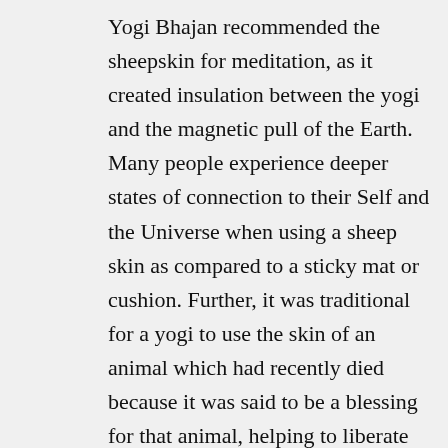Yogi Bhajan recommended the sheepskin for meditation, as it created insulation between the yogi and the magnetic pull of the Earth. Many people experience deeper states of connection to their Self and the Universe when using a sheep skin as compared to a sticky mat or cushion. Further, it was traditional for a yogi to use the skin of an animal which had recently died because it was said to be a blessing for that animal, helping to liberate its soul. Sheep specifically have non-allergenic properties. Wool also regulates body temperature, so it is cool when you are hot, and warm when you are cold.